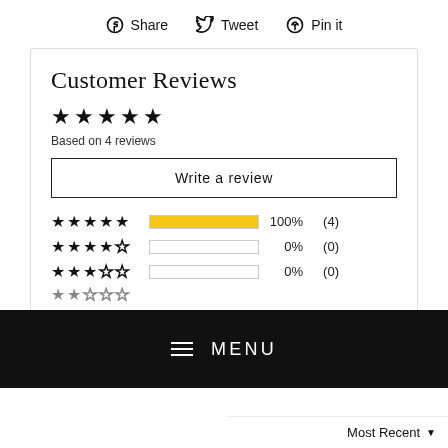Share   Tweet   Pin it
Customer Reviews
★★★★★ Based on 4 reviews
Write a review
| Stars | Bar | Percent | Count |
| --- | --- | --- | --- |
| ★★★★★ | 100% | 100% | (4) |
| ★★★★☆ |  | 0% | (0) |
| ★★★☆☆ |  | 0% | (0) |
≡ MENU
Most Recent ▼